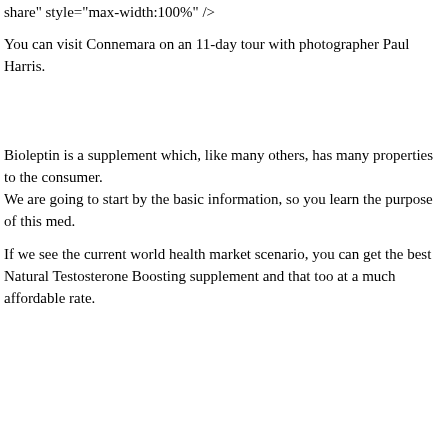share" style="max-width:100%" />
You can visit Connemara on an 11-day tour with photographer Paul Harris.
Bioleptin is a supplement which, like many others, has many properties to the consumer.
We are going to start by the basic information, so you learn the purpose of this med.
If we see the current world health market scenario, you can get the best Natural Testosterone Boosting supplement and that too at a much affordable rate.